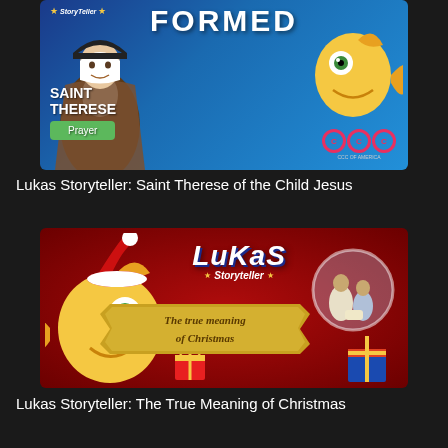[Figure (screenshot): Lukas Storyteller: Saint Therese of the Child Jesus - animated thumbnail showing a nun figure in brown habit, yellow cartoon fish (Lukas), FORMED logo, green Prayer button, CCC of America logo, on blue background]
Lukas Storyteller: Saint Therese of the Child Jesus
[Figure (screenshot): Lukas Storyteller: The True Meaning of Christmas - animated thumbnail with yellow cartoon fish (Lukas) wearing Santa hat, banner reading 'The true meaning of Christmas', Lukas Storyteller logo, nativity scene in snow globe, gifts, on dark red background]
Lukas Storyteller: The True Meaning of Christmas